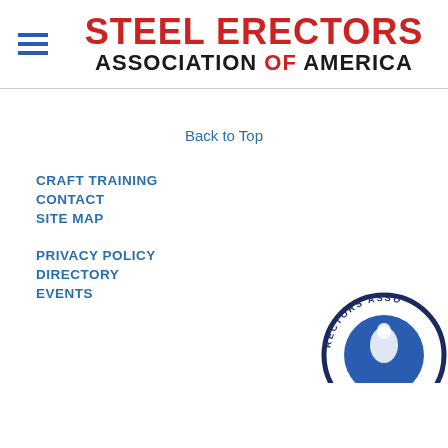STEEL ERECTORS ASSOCIATION OF AMERICA
Back to Top
CRAFT TRAINING
CONTACT
SITE MAP
PRIVACY POLICY
DIRECTORY
EVENTS
[Figure (logo): Steel Erectors Association of America circular logo, partially visible in the bottom-right corner]